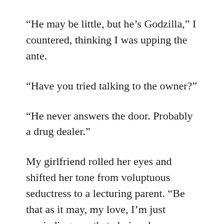“He may be little, but he’s Godzilla,” I countered, thinking I was upping the ante.
“Have you tried talking to the owner?”
“He never answers the door. Probably a drug dealer.”
My girlfriend rolled her eyes and shifted her tone from voluptuous seductress to a lecturing parent. “Be that as it may, my love, I’m just reminding you that choices have consequences. You don’t